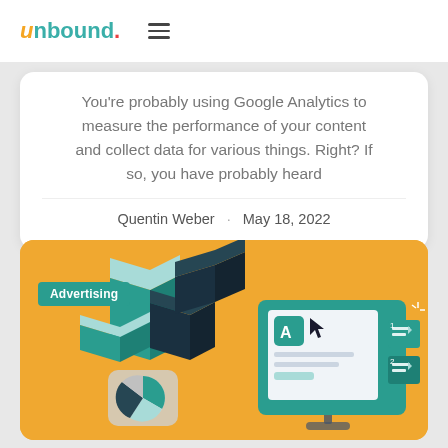unbound.
You're probably using Google Analytics to measure the performance of your content and collect data for various things. Right? If so, you have probably heard
Quentin Weber · May 18, 2022
[Figure (illustration): Isometric illustration of analytics/advertising concept: bar charts on the left with an 'Advertising' label badge, and a computer monitor displaying analytics interface with cursor on the right, on an orange/amber background.]